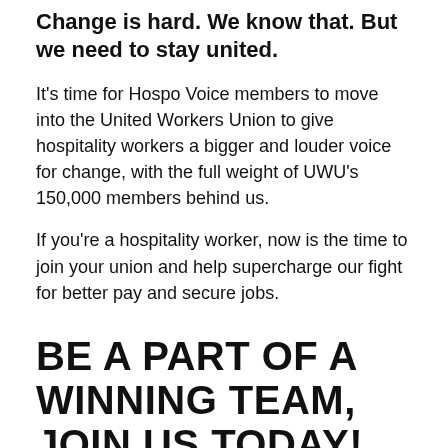Change is hard. We know that. But we need to stay united.
It's time for Hospo Voice members to move into the United Workers Union to give hospitality workers a bigger and louder voice for change, with the full weight of UWU's 150,000 members behind us.
If you're a hospitality worker, now is the time to join your union and help supercharge our fight for better pay and secure jobs.
BE A PART OF A WINNING TEAM, JOIN US TODAY!
JOIN UWU NOW